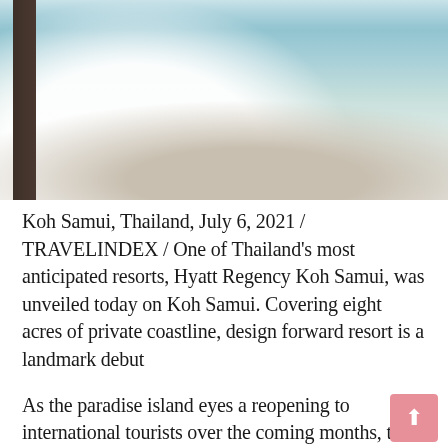[Figure (photo): Interior photo of a luxury hotel room at Hyatt Regency Koh Samui showing a white bed in the foreground, dark wood furniture/TV console in the background, and a view through open glass doors to an outdoor terrace and ocean/garden beyond.]
Koh Samui, Thailand, July 6, 2021 / TRAVELINDEX / One of Thailand's most anticipated resorts, Hyatt Regency Koh Samui, was unveiled today on Koh Samui. Covering eight acres of private coastline, design forward resort is a landmark debut
As the paradise island eyes a reopening to international tourists over the coming months, the opening is a landmark on the road to recovery.